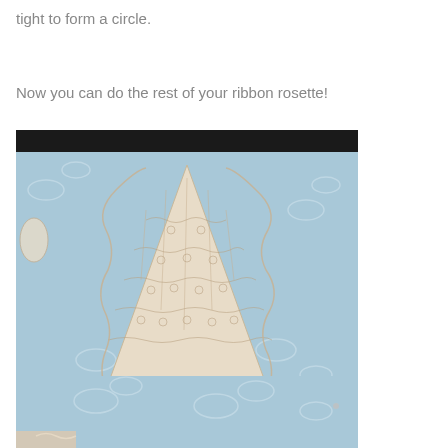tight to form a circle.
Now you can do the rest of your ribbon rosette!
[Figure (photo): Photo of cream/ivory lace ribbon folded and gathered into a rosette shape, placed on a light blue decorative surface with white vine/leaf pattern.]
[Figure (photo): Partial photo of the same blue decorative surface, with the beginning of a hand or lace element visible at the bottom.]